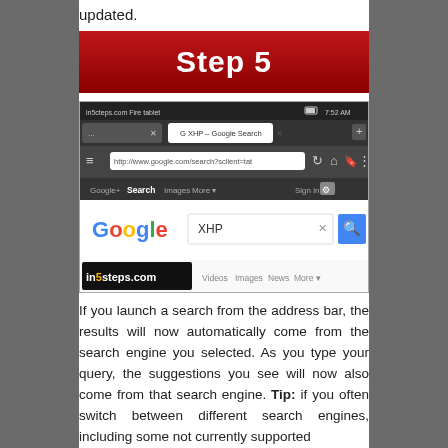updated.
Step 5
[Figure (screenshot): Screenshot of Google search on a Fire tablet browser showing a search for 'XHP' with in5steps.com watermark]
If you launch a search from the address bar, the results will now automatically come from the search engine you selected. As you type your query, the suggestions you see will now also come from that search engine. Tip: if you often switch between different search engines, including some not currently supported